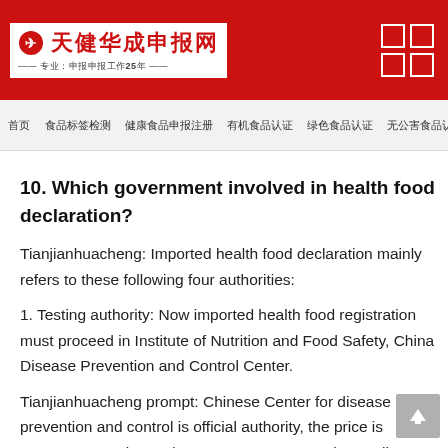天健华成申报网
首页 食品标签检测 健康食品申报注册 有机食品认证 绿色食品认证 无公害食品认证 QS认证申请
10. Which government involved in health food declaration?
Tianjianhuacheng: Imported health food declaration mainly refers to these following four authorities:
1. Testing authority: Now imported health food registration must proceed in Institute of Nutrition and Food Safety, China Disease Prevention and Control Center.
Tianjianhuacheng prompt: Chinese Center for disease prevention and control is official authority, the price is transparency, please do not trust some agencies' malice